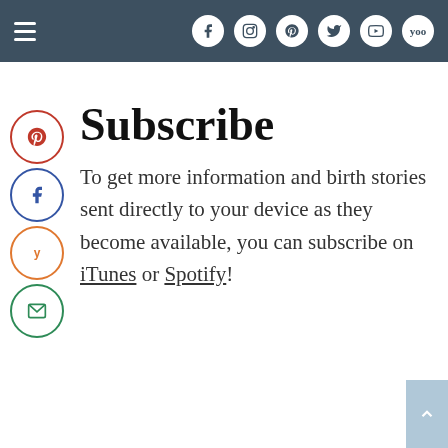Navigation bar with hamburger menu and social icons: Facebook, Instagram, Pinterest, Twitter, YouTube, Yahoo
[Figure (illustration): Vertical stack of four circular social share buttons on the left side: Pinterest (red), Facebook (blue), Yummly (orange), Email (green)]
Subscribe
To get more information and birth stories sent directly to your device as they become available, you can subscribe on iTunes or Spotify!